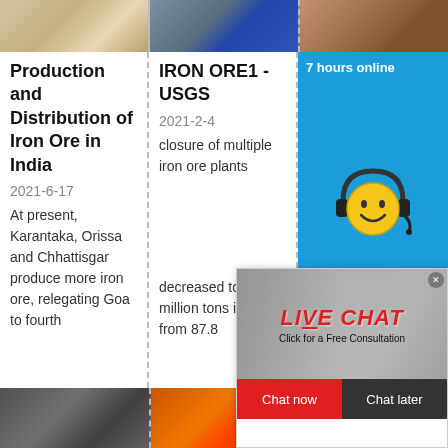[Figure (photo): Top strip of three images: sand/ore material, industrial machinery with blue barrels, earthen/rocky terrain]
Production and Distribution of Iron Ore in India
2021-6-17
At present, Karantaka, Orissa and Chhattisgar produce more iron ore, relegating Goa to fourth
IRON ORE1 - USGS
2021-2-4
closure of multiple iron ore plants
decreased to 69 million tons in 2020 from 87.8
Indian Metals and Mining Industry Analysis
2021-5-25
[Figure (infographic): Live chat popup overlay showing workers in hard hats, LIVE CHAT in red italic text, Click for a Free Consultation, Chat now (red button) and Chat later (dark button), close X button]
7 hours online
Click me to chat >>
Enquiry
cywaitml @gmail.com
[Figure (photo): Bottom strip: conveyor/industrial equipment on left, orange/red shipping containers or mining equipment on right]